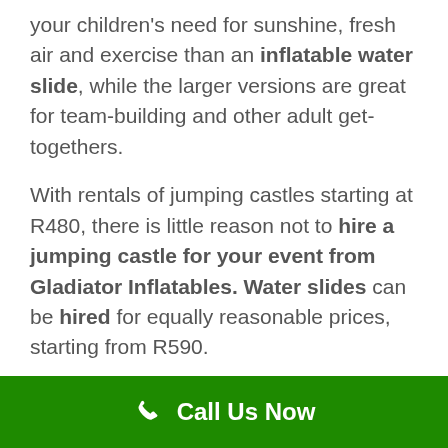your children's need for sunshine, fresh air and exercise than an inflatable water slide, while the larger versions are great for team-building and other adult get-togethers.
With rentals of jumping castles starting at R480, there is little reason not to hire a jumping castle for your event from Gladiator Inflatables. Water slides can be hired for equally reasonable prices, starting from R590.
Inflatables are generally hired out for the weekend – from Friday through to Monday.
Call Us Now